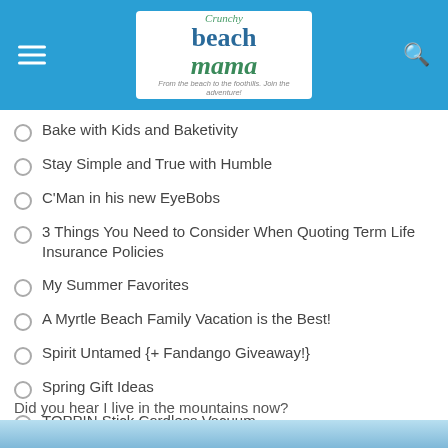Crunchy Beach Mama — From the beach to the foothills. Join the adventure!
Bake with Kids and Baketivity
Stay Simple and True with Humble
C'Man in his new EyeBobs
3 Things You Need to Consider When Quoting Term Life Insurance Policies
My Summer Favorites
A Myrtle Beach Family Vacation is the Best!
Spirit Untamed {+ Fandango Giveaway!}
Spring Gift Ideas
TOPPIN Stick Cordless Vacuum
Kids Gift Guide
Did you hear I live in the mountains now?